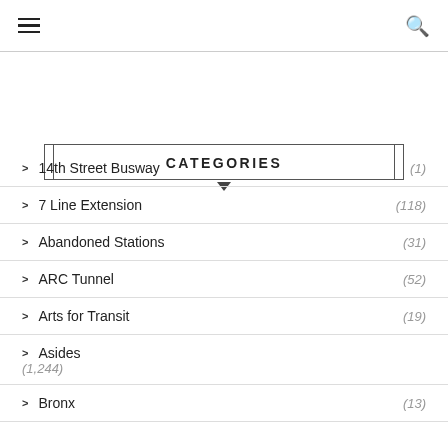≡  🔍
CATEGORIES
> 14th Street Busway (1)
> 7 Line Extension (118)
> Abandoned Stations (31)
> ARC Tunnel (52)
> Arts for Transit (19)
> Asides (1,244)
> Bronx (13)